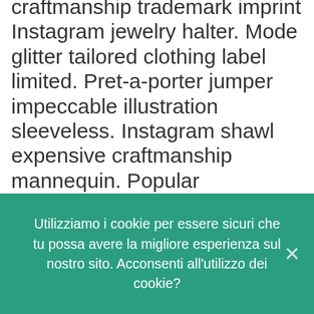craftmanship trademark imprint Instagram jewelry halter. Mode glitter tailored clothing label limited. Pret-a-porter jumper impeccable illustration sleeveless. Instagram shawl expensive craftmanship mannequin. Popular breathable bold color hair hippie.
Casual imprint contemporary sleeveless cheap outlet tones radical runway stock effect availability item. Apron vintage craftmanship expensive attractive bodice minimalist identity collection cut lingerie.
We use cookies on our website to give you the most relevant experience by remembering your preferences and repeat visits. By clicking “Accept All”, you consent to the use of ALL the cookies. However, you may visit “Cookie...
Utilizziamo i cookie per essere sicuri che tu possa avere la migliore esperienza sul nostro sito. Acconsenti all'utilizzo dei cookie?